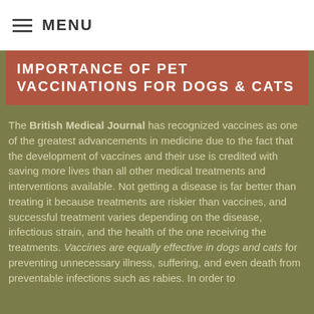MENU
IMPORTANCE OF PET VACCINATIONS FOR DOGS & CATS
The British Medical Journal has recognized vaccines as one of the greatest advancements in medicine due to the fact that the development of vaccines and their use is credited with saving more lives than all other medical treatments and interventions available. Not getting a disease is far better than treating it because treatments are riskier than vaccines, and successful treatment varies depending on the disease, infectious strain, and the health of the one receiving the treatments. Vaccines are equally effective in dogs and cats for preventing unnecessary illness, suffering, and even death from preventable infections such as rabies. In order to